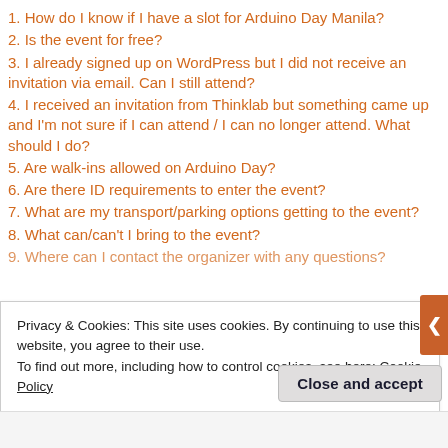1. How do I know if I have a slot for Arduino Day Manila?
2. Is the event for free?
3. I already signed up on WordPress but I did not receive an invitation via email. Can I still attend?
4. I received an invitation from Thinklab but something came up and I'm not sure if I can attend / I can no longer attend. What should I do?
5. Are walk-ins allowed on Arduino Day?
6. Are there ID requirements to enter the event?
7. What are my transport/parking options getting to the event?
8. What can/can't I bring to the event?
9. Where can I contact the organizer with any questions?
Privacy & Cookies: This site uses cookies. By continuing to use this website, you agree to their use.
To find out more, including how to control cookies, see here: Cookie Policy